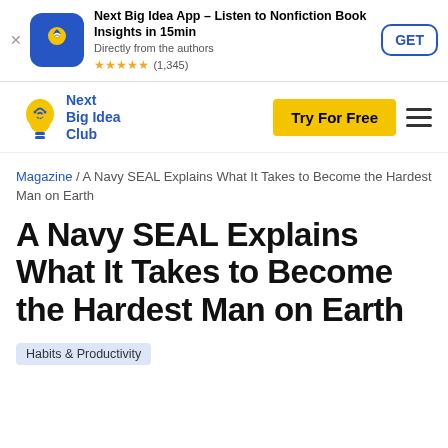[Figure (screenshot): App store ad banner for Next Big Idea App with icon, title, stars rating (1,345), and GET button]
[Figure (logo): Next Big Idea Club logo with lightbulb icon and blue text, navigation bar with Try For Free yellow button and hamburger menu]
Magazine / A Navy SEAL Explains What It Takes to Become the Hardest Man on Earth
A Navy SEAL Explains What It Takes to Become the Hardest Man on Earth
Habits & Productivity